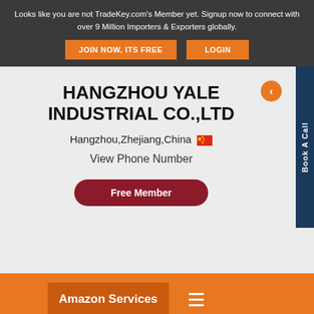Looks like you are not TradeKey.com's Member yet. Signup now to connect with over 9 Million Importers & Exporters globally.
JOIN NOW, ITS FREE
LOGIN
HANGZHOU YALE INDUSTRIAL CO.,LTD
Hangzhou,Zhejiang,China 🇨🇳
View Phone Number
Free Member
Book A Call
Amazon Services
COMPANY PROFILE